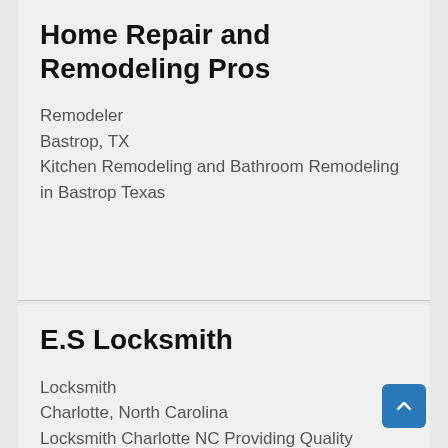Home Repair and Remodeling Pros
Remodeler
Bastrop, TX
Kitchen Remodeling and Bathroom Remodeling in Bastrop Texas
E.S Locksmith
Locksmith
Charlotte, North Carolina
Locksmith Charlotte NC Providing Quality Service 24/7